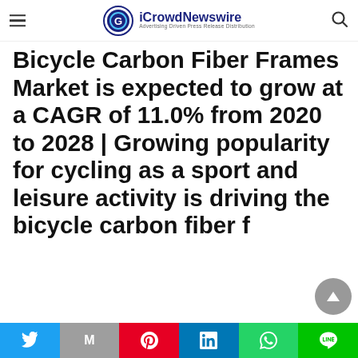iCrowdNewswire — Advertising Driven Press Release Distribution
Bicycle Carbon Fiber Frames Market is expected to grow at a CAGR of 11.0% from 2020 to 2028 | Growing popularity for cycling as a sport and leisure activity is driving the bicycle carbon fiber frames
Share bar: Twitter, Gmail, Pinterest, LinkedIn, WhatsApp, Line